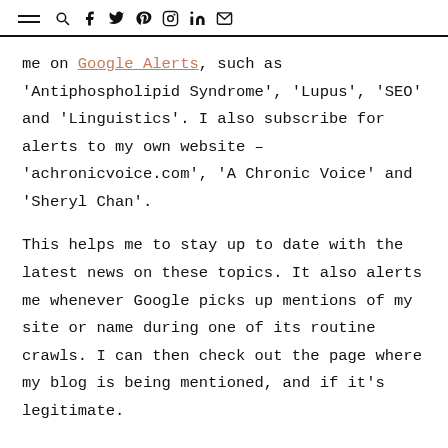≡ 🔍 f 𝕏 ℙ ⊙ in ✉
me on Google Alerts, such as 'Antiphospholipid Syndrome', 'Lupus', 'SEO' and 'Linguistics'. I also subscribe for alerts to my own website – 'achronicvoice.com', 'A Chronic Voice' and 'Sheryl Chan'.
This helps me to stay up to date with the latest news on these topics. It also alerts me whenever Google picks up mentions of my site or name during one of its routine crawls. I can then check out the page where my blog is being mentioned, and if it's legitimate.